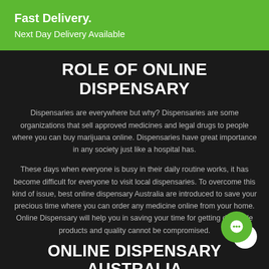Fast Delivery.
Next Day Delivery Available
ROLE OF ONLINE DISPENSARY
Dispensaries are everywhere but why? Dispensaries are some organizations that sell approved medicines and legal drugs to people where you can buy marijuana online. Dispensaries have great importance in any society just like a hospital has.
These days when everyone is busy in their daily routine works, it has become difficult for everyone to visit local dispensaries. To overcome this kind of issue, best online dispensary Australia are introduced to save your precious time where you can order any medicine online from your home. Online Dispensary will help you in saving your time for getting desirable products and quality cannot be compromised.
ONLINE DISPENSARY AUSTRALIA